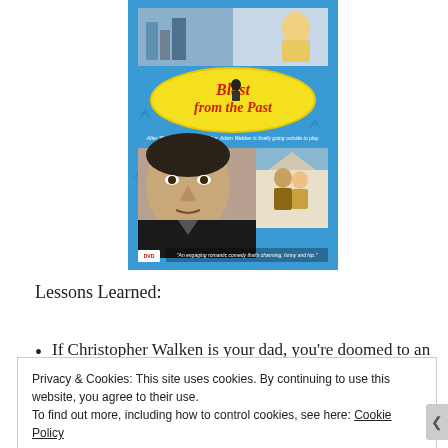[Figure (photo): DVD cover of the movie 'Blast from the Past' showing a blue background with yellow oval logo, Brendan Fraser's face prominently displayed, and two other actors in the background. Text at bottom reads 'An engaging romantic comedy that's charming, funny and hip.']
Lessons Learned:
If Christopher Walken is your dad, you're doomed to an
Privacy & Cookies: This site uses cookies. By continuing to use this website, you agree to their use.
To find out more, including how to control cookies, see here: Cookie Policy
Close and accept